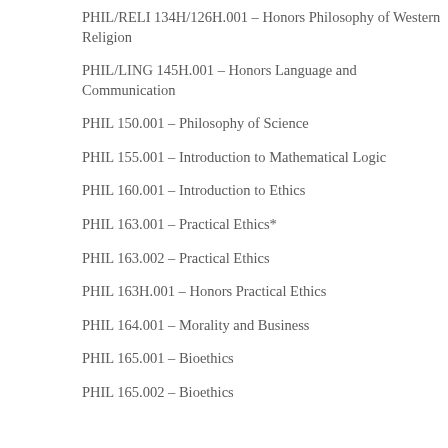PHIL/RELI 134H/126H.001 – Honors Philosophy of Western Religion
PHIL/LING 145H.001 – Honors Language and Communication
PHIL 150.001 – Philosophy of Science
PHIL 155.001 – Introduction to Mathematical Logic
PHIL 160.001 – Introduction to Ethics
PHIL 163.001 – Practical Ethics*
PHIL 163.002 – Practical Ethics
PHIL 163H.001 – Honors Practical Ethics
PHIL 164.001 – Morality and Business
PHIL 165.001 – Bioethics
PHIL 165.002 – Bioethics